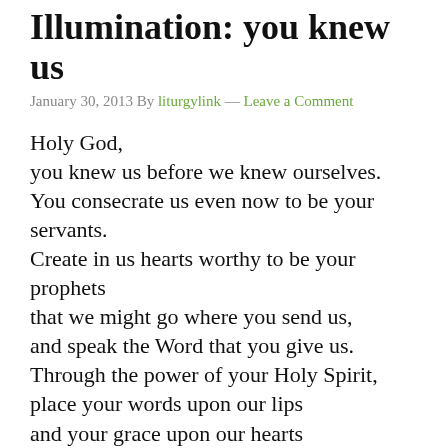Illumination: you knew us
January 30, 2013 By liturgylink — Leave a Comment
Holy God,
you knew us before we knew ourselves.
You consecrate us even now to be your servants.
Create in us hearts worthy to be your prophets
that we might go where you send us,
and speak the Word that you give us.
Through the power of your Holy Spirit,
place your words upon our lips
and your grace upon our hearts
so that we might pluck up and pull down,
destroy and overthrow